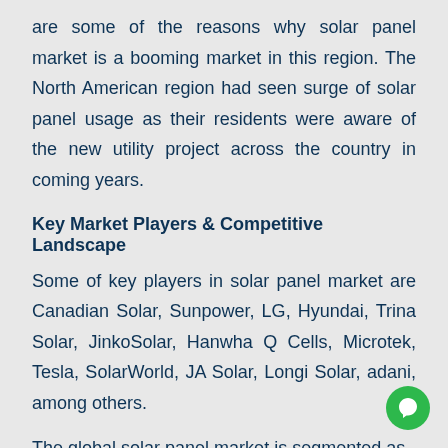are some of the reasons why solar panel market is a booming market in this region. The North American region had seen surge of solar panel usage as their residents were aware of the new utility project across the country in coming years.
Key Market Players & Competitive Landscape
Some of key players in solar panel market are Canadian Solar, Sunpower, LG, Hyundai, Trina Solar, JinkoSolar, Hanwha Q Cells, Microtek, Tesla, SolarWorld, JA Solar, Longi Solar, adani, among others.
The global solar panel market is segmented as